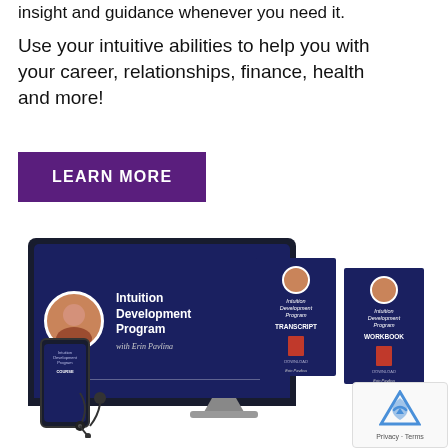insight and guidance whenever you need it.
Use your intuitive abilities to help you with your career, relationships, finance, health and more!
LEARN MORE
[Figure (photo): Product bundle image showing the Intuition Development Program with Erin Pavlina: a monitor displaying the course, a smartphone, earphones, a transcript booklet, and a workbook booklet, all with dark navy/blue branding.]
[Figure (logo): Google reCAPTCHA widget overlay in the bottom-right corner with the reCAPTCHA logo icon and Privacy · Terms links.]